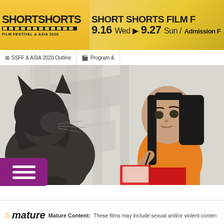SHORT SHORTS FILM FESTIVAL & ASIA 2020 | 9.16 Wed > 9.27 Sun / Admission | SSFF & ASIA 2020 Outline | Program &
[Figure (illustration): Animated illustration showing a dark cat on the left and an anime-style girl in an orange top writing in a red book, with a light background of stairs/ladders]
mature  Mature Content:  These films may include sexual and/or violent content